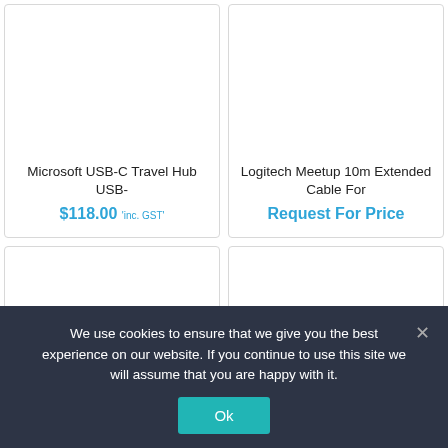Microsoft USB-C Travel Hub USB-
$118.00 'inc. GST'
Logitech Meetup 10m Extended Cable For
Request For Price
We use cookies to ensure that we give you the best experience on our website. If you continue to use this site we will assume that you are happy with it.
Ok